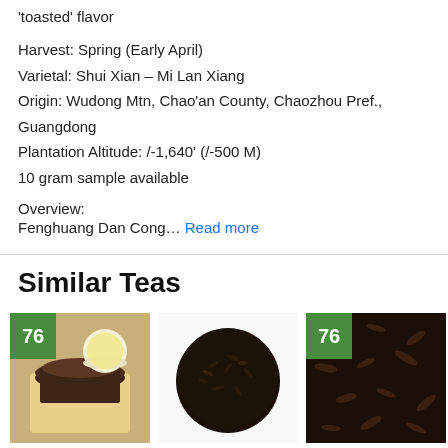'toasted' flavor
Harvest: Spring (Early April)
Varietal: Shui Xian – Mi Lan Xiang
Origin: Wudong Mtn, Chao'an County, Chaozhou Pref., Guangdong
Plantation Altitude: /-1,640' (/-500 M)
10 gram sample available
Overview:
Fenghuang Dan Cong… Read more
Similar Teas
[Figure (photo): Tea photo with score badge 76 - oolong tea leaves on wooden tray with yellow tea in white bowl]
[Figure (photo): Tea photo - black tea loose leaves in circular pile]
[Figure (photo): Tea photo with score badge 76 - dark curled tea leaves close-up]